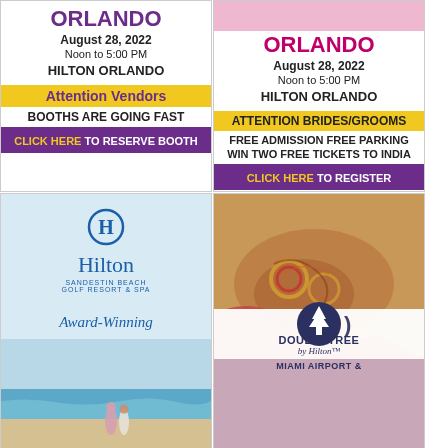[Figure (illustration): Advertisement for Orlando Indian Wedding Show - Vendor Ad. August 28, 2022, Noon to 5:00 PM, Hilton Orlando. Attention Vendors - Booths Are Going Fast. Click Here to Reserve Booth.]
[Figure (illustration): Advertisement for Orlando Indian Wedding Show - Brides/Grooms Ad. August 28, 2022, Noon to 5:00 PM, Hilton Orlando. Attention Brides/Grooms - Free Admission Free Parking, Win Two Free Tickets to India. Click Here to Register.]
[Figure (illustration): Hilton Sandestin Beach Golf Resort & Spa advertisement. Award-Winning Destination for Indian & South Asian Weddings. Photo of couple on beach.]
[Figure (photo): DoubleTree by Hilton Miami Airport advertisement. Background photo of Indian bride and groom hands with bangles and mehndi. DoubleTree by Hilton logo and Miami Airport & text.]